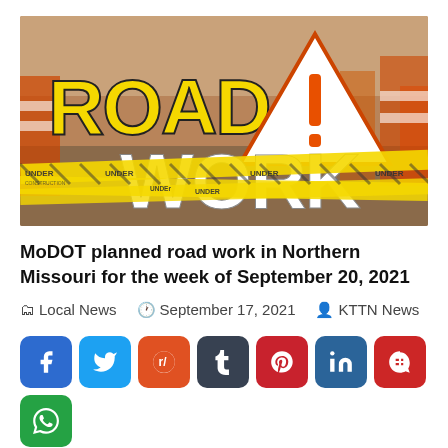[Figure (photo): Road work warning image with large yellow 'ROAD' text, white 'WORK' text, orange warning triangle with exclamation mark, and yellow under construction tape barriers against an orange/sepia road construction background.]
MoDOT planned road work in Northern Missouri for the week of September 20, 2021
Local News   September 17, 2021   KTTN News
[Figure (infographic): Social media share buttons row: Facebook (blue), Twitter (light blue), Reddit (orange), Tumblr (dark gray), Pinterest (red), LinkedIn (blue), Parler (red), WhatsApp (green)]
The following is a list of road and highway projects —